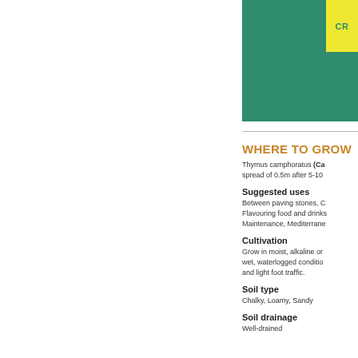[Figure (other): Green teal header block with yellow badge showing 'CR' text, part of a plant information page header]
WHERE TO GROW
Thymus camphoratus (Ca... spread of 0.5m after 5-10...
Suggested uses
Between paving stones, C... Flavouring food and drinks... Maintenance, Mediterrane...
Cultivation
Grow in moist, alkaline or... wet, waterlogged conditio... and light foot traffic.
Soil type
Chalky, Loamy, Sandy
Soil drainage
Well-drained